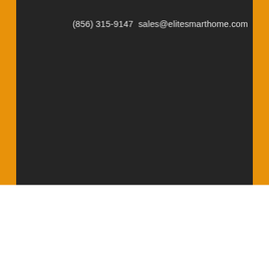(856) 315-9147  sales@elitesmarthome.com